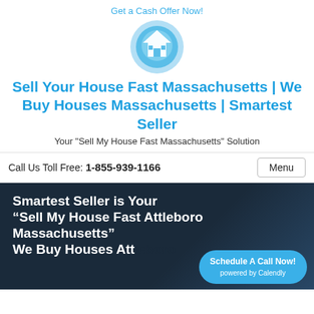Get a Cash Offer Now!
[Figure (logo): Circular blue logo with a white house icon and two small square windows]
Sell Your House Fast Massachusetts | We Buy Houses Massachusetts | Smartest Seller
Your "Sell My House Fast Massachusetts" Solution
Call Us Toll Free: 1-855-939-1166
Menu
Smartest Seller is Your “Sell My House Fast Attleboro Massachusetts” We Buy Houses Attleboro
Schedule A Call Now! powered by Calendly